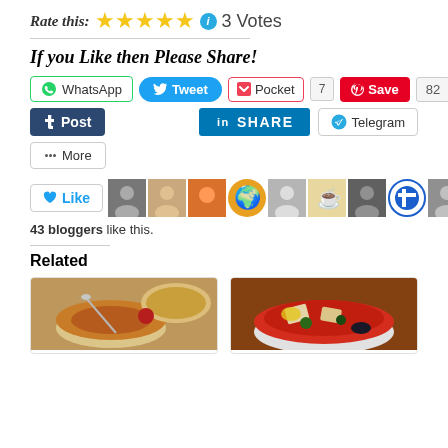Rate this: ★★★★★ ℹ 3 Votes
If you Like then Please Share!
[Figure (screenshot): Social share buttons: WhatsApp, Tweet, Pocket (7), Save (82), Post, LinkedIn SHARE, Telegram, More]
[Figure (screenshot): Like button followed by avatar strip of 10 blogger profile images]
43 bloggers like this.
Related
[Figure (photo): Food photo: dal/lentil soup in a white bowl with roti/bread]
[Figure (photo): Food photo: red tomato-based soup with paneer/tofu and vegetables in white bowl]